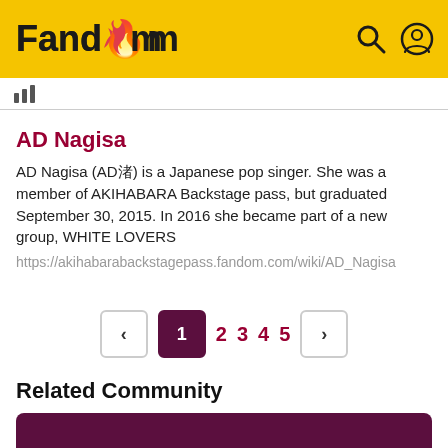Fandom
AD Nagisa
AD Nagisa (AD渚) is a Japanese pop singer. She was a member of AKIHABARA Backstage pass, but graduated September 30, 2015. In 2016 she became part of a new group, WHITE LOVERS
https://akihabarabackstagepass.fandom.com/wiki/AD_Nagisa
Related Community
[Figure (screenshot): Dark magenta/purple community card with two white avatar circles at the bottom]